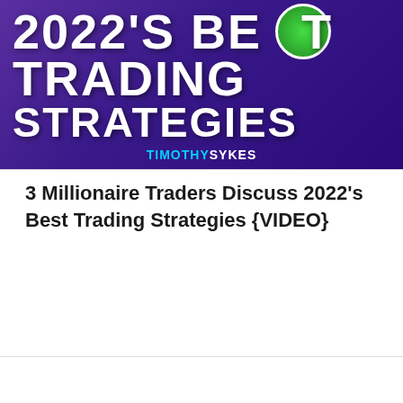[Figure (illustration): Banner image with purple/blue gradient background showing '2022's BEST TRADING STRATEGIES' in bold white text with Timothy Sykes branding and a green circular logo element]
3 Millionaire Traders Discuss 2022's Best Trading Strategies {VIDEO}